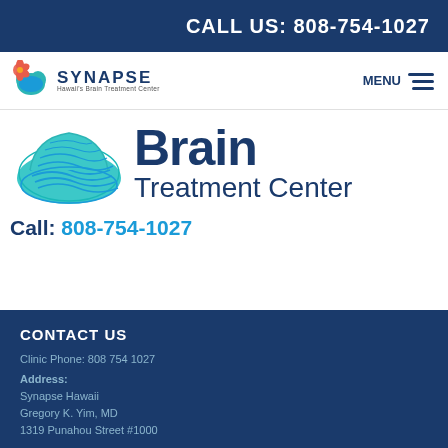CALL US: 808-754-1027
[Figure (logo): Synapse Hawaii Brain Treatment Center logo with hibiscus and brain icon, plus navigation menu icon]
[Figure (logo): Brain Treatment Center logo with teal brain illustration and dark blue text reading 'Brain Treatment Center']
Call: 808-754-1027
CONTACT US
Clinic Phone: 808 754 1027
Address:
Synapse Hawaii
Gregory K. Yim, MD
1319 Punahou Street #1000